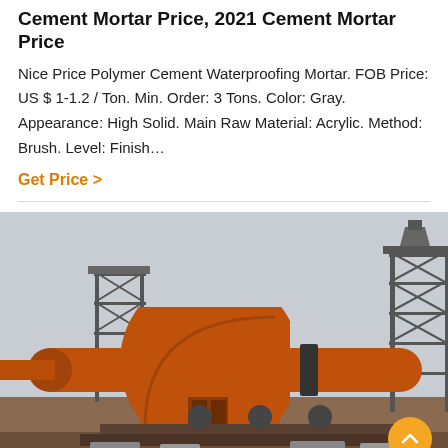Cement Mortar Price, 2021 Cement Mortar Price
Nice Price Polymer Cement Waterproofing Mortar. FOB Price: US $ 1-1.2 / Ton. Min. Order: 3 Tons. Color: Gray. Appearance: High Solid. Main Raw Material: Acrylic. Method: Brush. Level: Finish…
Get Price  >
[Figure (photo): Industrial orange cement mortar ball mill / rotary kiln on a construction site with steel scaffolding structures in the background.]